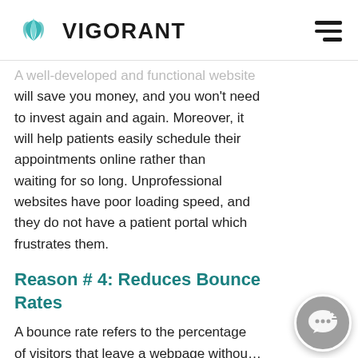VIGORANT
A well-developed and functional website will save you money, and you won't need to invest again and again. Moreover, it will help patients easily schedule their appointments online rather than waiting for so long. Unprofessional websites have poor loading speed, and they do not have a patient portal which frustrates them.
Reason # 4: Reduces Bounce Rates
A bounce rate refers to the percentage of visitors that leave a webpage without taking action—for instance, filling out a